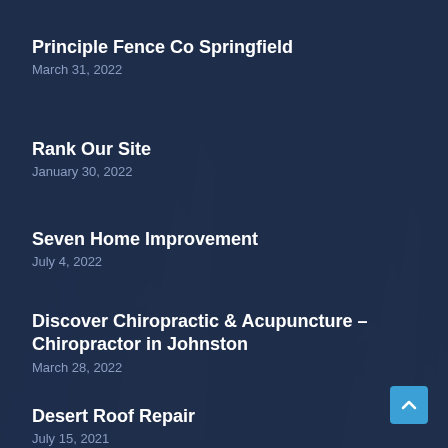Principle Fence Co Springfield
March 31, 2022
Rank Our Site
January 30, 2022
Seven Home Improvement
July 4, 2022
Discover Chiropractic & Acupuncture – Chiropractor in Johnston
March 28, 2022
Desert Roof Repair
July 15, 2021